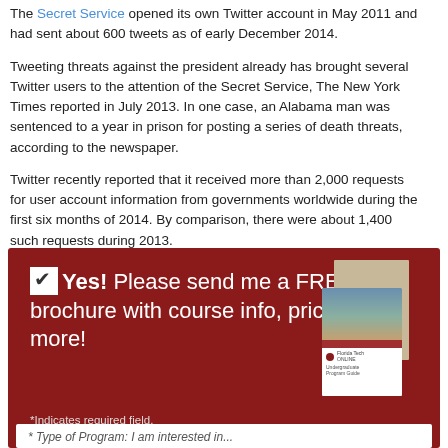The Secret Service opened its own Twitter account in May 2011 and had sent about 600 tweets as of early December 2014.
Tweeting threats against the president already has brought several Twitter users to the attention of the Secret Service, The New York Times reported in July 2013. In one case, an Alabama man was sentenced to a year in prison for posting a series of death threats, according to the newspaper.
Twitter recently reported that it received more than 2,000 requests for user account information from governments worldwide during the first six months of 2014. By comparison, there were about 1,400 such requests during 2013.
Category: 2014 Headlines
[Figure (infographic): Dark red advertisement box with checkbox, text reading 'Yes! Please send me a FREE brochure with course info, pricing and more!', an image of brochures, required field note, and an input field at the bottom.]